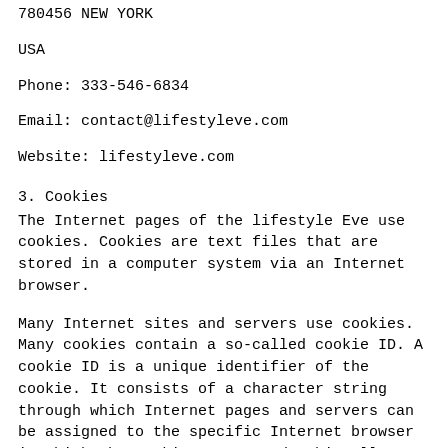780456 NEW YORK
USA
Phone: 333-546-6834
Email: contact@lifestyleve.com
Website: lifestyleve.com
3. Cookies
The Internet pages of the lifestyle Eve use cookies. Cookies are text files that are stored in a computer system via an Internet browser.
Many Internet sites and servers use cookies. Many cookies contain a so-called cookie ID. A cookie ID is a unique identifier of the cookie. It consists of a character string through which Internet pages and servers can be assigned to the specific Internet browser in which the cookie was stored. This allows visited Internet sites and servers to